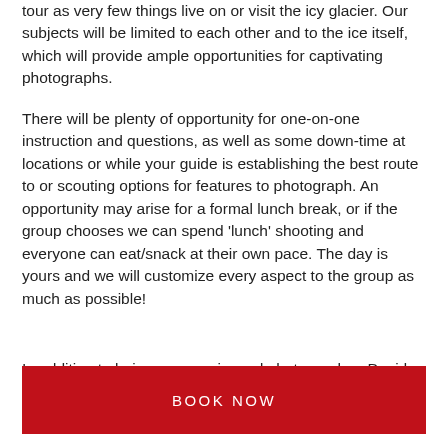tour as very few things live on or visit the icy glacier. Our subjects will be limited to each other and to the ice itself, which will provide ample opportunities for captivating photographs.
There will be plenty of opportunity for one-on-one instruction and questions, as well as some down-time at locations or while your guide is establishing the best route to or scouting options for features to photograph. An opportunity may arise for a formal lunch break, or if the group chooses we can spend 'lunch' shooting and everyone can eat/snack at their own pace. The day is yours and we will customize every aspect to the group as much as possible!
In addition to being an experienced photographer, David
BOOK NOW